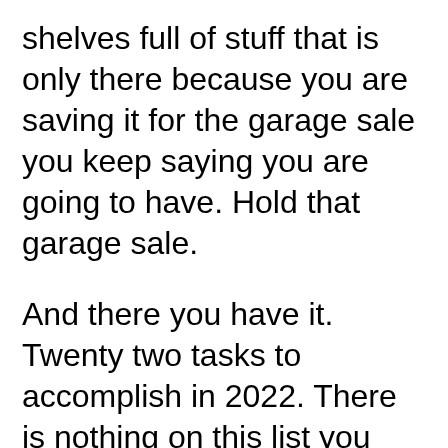shelves full of stuff that is only there because you are saving it for the garage sale you keep saying you are going to have. Hold that garage sale.
And there you have it. Twenty two tasks to accomplish in 2022. There is nothing on this list you cannot do, and you've got a year to do it. You might even be done by July if you make an effort. At the end you